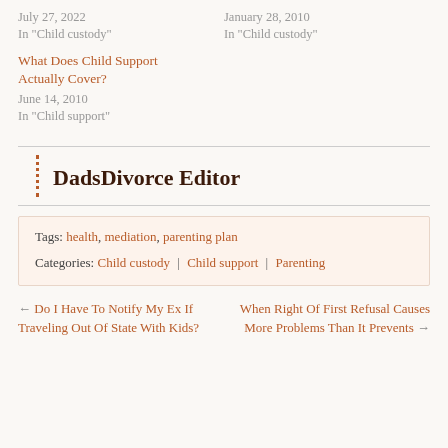July 27, 2022
In "Child custody"
January 28, 2010
In "Child custody"
What Does Child Support Actually Cover?
June 14, 2010
In "Child support"
DadsDivorce Editor
Tags: health, mediation, parenting plan
Categories: Child custody | Child support | Parenting
← Do I Have To Notify My Ex If Traveling Out Of State With Kids?
When Right Of First Refusal Causes More Problems Than It Prevents →